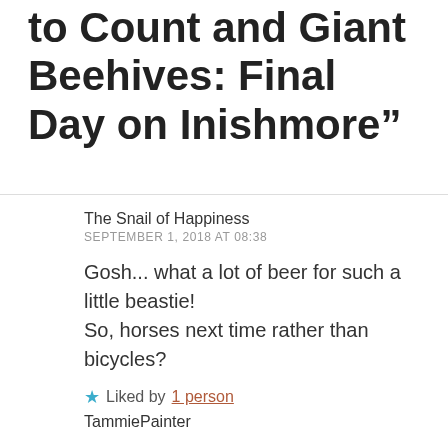to Count and Giant Beehives: Final Day on Inishmore”
The Snail of Happiness
SEPTEMBER 1, 2018 AT 08:38
Gosh... what a lot of beer for such a little beastie!
So, horses next time rather than bicycles?
Liked by 1 person
TammiePainter